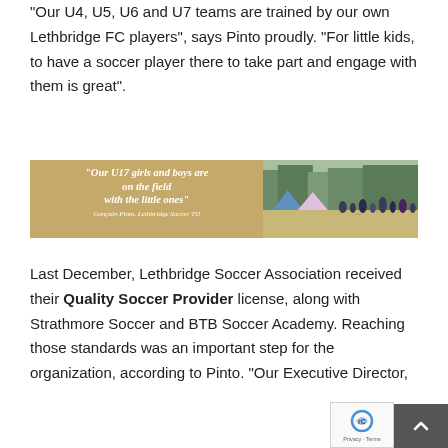"Our U4, U5, U6 and U7 teams are trained by our own Lethbridge FC players", says Pinto proudly. "For little kids, to have a soccer player there to take part and engage with them is great".
[Figure (photo): Banner image with tan/gold left panel containing italic quote text: '"Our U17 girls and boys are on the field with the little ones"' attributed to 'Gonçalo Pinto, Lethbridge Soccer TD', and right panel showing a photo of children playing soccer on a field with adults and tents in background.]
Last December, Lethbridge Soccer Association received their Quality Soccer Provider license, along with Strathmore Soccer and BTB Soccer Academy. Reaching those standards was an important step for the organization, according to Pinto. "Our Executive Director,